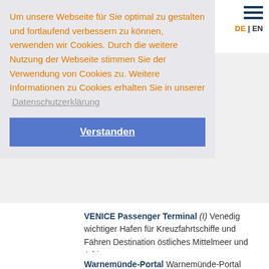Um unsere Webseite für Sie optimal zu gestalten und fortlaufend verbessern zu können, verwenden wir Cookies. Durch die weitere Nutzung der Webseite stimmen Sie der Verwendung von Cookies zu. Weitere Informationen zu Cookies erhalten Sie in unserer Datenschutzerklärung
Verstanden
DE | EN
VENICE Passenger Terminal (I) Venedig wichtiger Hafen für Kreuzfahrtschiffe und Fähren Destination östliches Mittelmeer und Adria
Warnemünde-Portal Warnemünde-Portal Wmnde.de